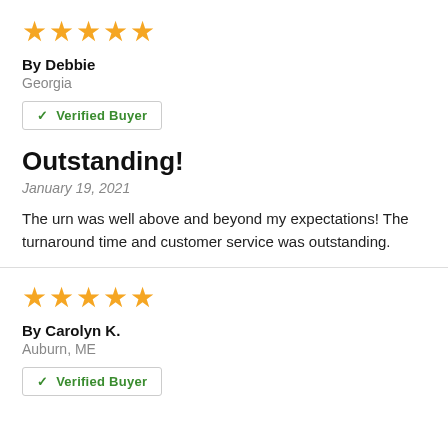[Figure (other): 5 gold stars rating]
By Debbie
Georgia
✓ Verified Buyer
Outstanding!
January 19, 2021
The urn was well above and beyond my expectations! The turnaround time and customer service was outstanding.
[Figure (other): 5 gold stars rating]
By Carolyn K.
Auburn, ME
✓ Verified Buyer